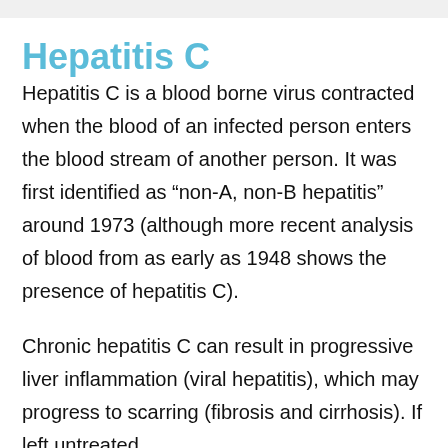Hepatitis C
Hepatitis C is a blood borne virus contracted when the blood of an infected person enters the blood stream of another person. It was first identified as “non-A, non-B hepatitis” around 1973 (although more recent analysis of blood from as early as 1948 shows the presence of hepatitis C).
Chronic hepatitis C can result in progressive liver inflammation (viral hepatitis), which may progress to scarring (fibrosis and cirrhosis). If left untreated,